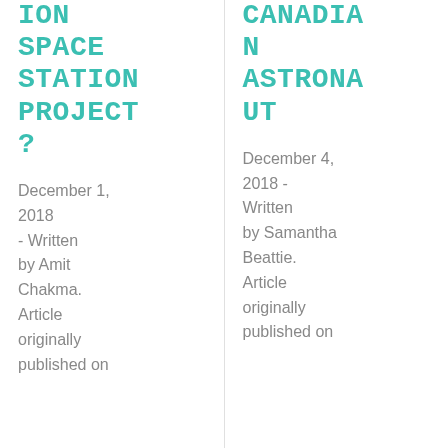ION SPACE STATION PROJECT?
December 1, 2018 - Written by Amit Chakma. Article originally published on
CANADIAN ASTRONAUT
December 4, 2018 - Written by Samantha Beattie. Article originally published on